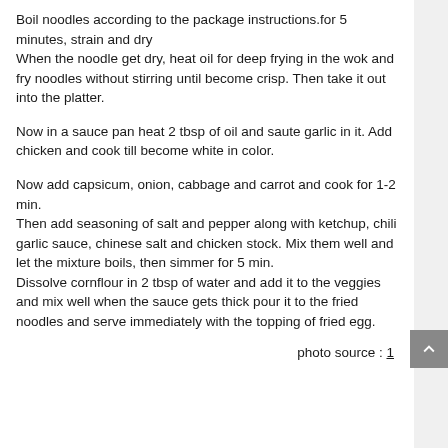Boil noodles according to the package instructions.for 5 minutes, strain and dry
When the noodle get dry, heat oil for deep frying in the wok and fry noodles without stirring until become crisp. Then take it out into the platter.
Now in a sauce pan heat 2 tbsp of oil and saute garlic in it. Add chicken and cook till become white in color.
Now add capsicum, onion, cabbage and carrot and cook for 1-2 min.
Then add seasoning of salt and pepper along with ketchup, chili garlic sauce, chinese salt and chicken stock. Mix them well and let the mixture boils, then simmer for 5 min.
Dissolve cornflour in 2 tbsp of water and add it to the veggies and mix well when the sauce gets thick pour it to the fried noodles and serve immediately with the topping of fried egg.
photo source : 1